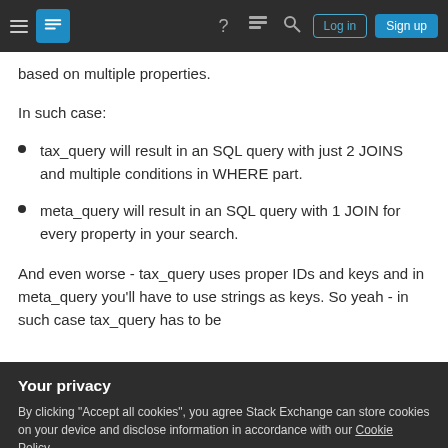Stack Exchange navigation bar with hamburger menu, logo, help, discussions, search icons, Log in and Sign up buttons
based on multiple properties.
In such case:
tax_query will result in an SQL query with just 2 JOINS and multiple conditions in WHERE part.
meta_query will result in an SQL query with 1 JOIN for every property in your search.
And even worse - tax_query uses proper IDs and keys and in meta_query you'll have to use strings as keys. So yeah - in such case tax_query has to be
Your privacy
By clicking "Accept all cookies", you agree Stack Exchange can store cookies on your device and disclose information in accordance with our Cookie Policy.
you search for all values within given range (i.e.